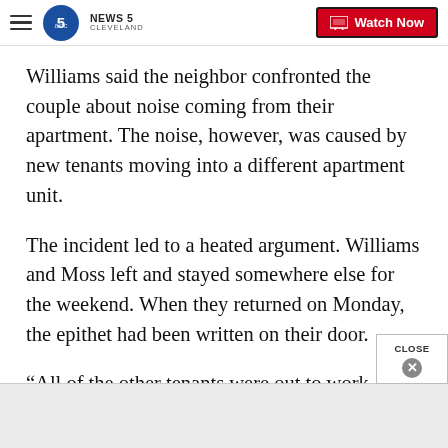NEWS 5 CLEVELAND | Watch Now
Williams said the neighbor confronted the couple about noise coming from their apartment. The noise, however, was caused by new tenants moving into a different apartment unit.
The incident led to a heated argument. Williams and Moss left and stayed somewhere else for the weekend. When they returned on Monday, the epithet had been written on their door.
“All of the other tenants were out to work, which means they walked past it and they saw it,” Williar